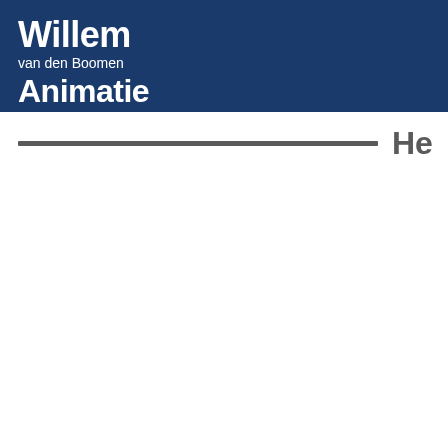Willem van den Boomen Animatie
He